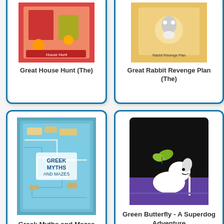[Figure (illustration): Book cover for 'Great House Hunt (The)' - children's book with illustrated cover]
Great House Hunt (The)
[Figure (illustration): Book cover for 'Great Rabbit Revenge Plan (The)' - children's book, partially visible]
Great Rabbit Revenge Plan (The)
[Figure (illustration): Book cover for 'Greek Myths and Mazes' - illustrated maze/map style cover]
Greek Myths and Mazes
[Figure (illustration): Book cover for 'Green Butterfly - A Superdog Adventure' - black background with white dog and green butterfly]
Green Butterfly - A Superdog Adventure
[Figure (illustration): Book cover partially visible at bottom left - red/dark cover]
[Figure (illustration): Book cover for 'Grishka' - partially visible at bottom right with red/brown text]